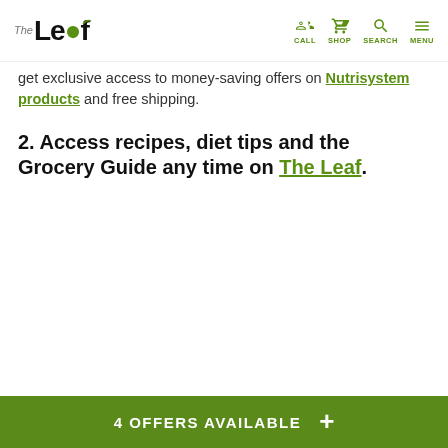The Leaf — CALL SHOP SEARCH MENU
get exclusive access to money-saving offers on Nutrisystem products and free shipping.
2. Access recipes, diet tips and the Grocery Guide any time on The Leaf.
4 OFFERS AVAILABLE +